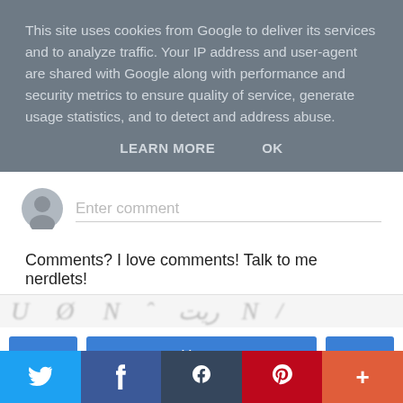This site uses cookies from Google to deliver its services and to analyze traffic. Your IP address and user-agent are shared with Google along with performance and security metrics to ensure quality of service, generate usage statistics, and to detect and address abuse.
LEARN MORE    OK
[Figure (screenshot): Comment input box with avatar icon and placeholder text 'Enter comment']
Comments? I love comments! Talk to me nerdlets!
[Figure (screenshot): Partial view of handwritten signatures strip]
< Home >
View web version
[Figure (screenshot): Social sharing bar with Twitter, Facebook, Tumblr, Pinterest, and more (+) buttons]